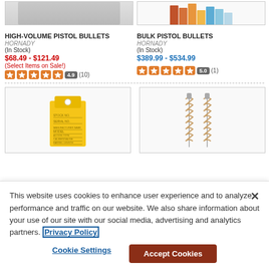[Figure (screenshot): Partial product image of High-Volume Pistol Bullets (top cropped)]
[Figure (screenshot): Partial product image of Bulk Pistol Bullets showing colored bars (top cropped)]
HIGH-VOLUME PISTOL BULLETS
HORNADY
(In Stock)
$68.49 - $121.49
(Select Items on Sale!)
[Figure (other): Star rating: 4.9 (10 reviews)]
BULK PISTOL BULLETS
HORNADY
(In Stock)
$389.99 - $534.99
[Figure (other): Star rating: 5.0 (1 review)]
[Figure (photo): Yellow price tag with text fields for stock number, serial number, etc.]
[Figure (photo): Two cleaning brushes/bore brushes standing upright]
This website uses cookies to enhance user experience and to analyze performance and traffic on our website. We also share information about your use of our site with our social media, advertising and analytics partners. Privacy Policy
Cookie Settings
Accept Cookies